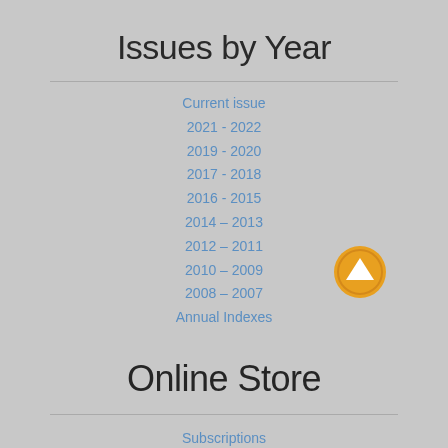Issues by Year
Current issue
2021 - 2022
2019 - 2020
2017 - 2018
2016 - 2015
2014 – 2013
2012 – 2011
2010 – 2009
2008 – 2007
Annual Indexes
Online Store
Subscriptions
Issues
Hardware Reviews